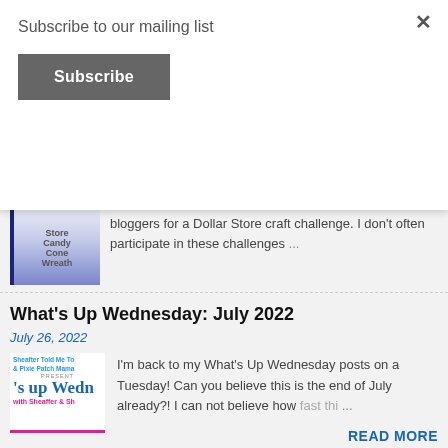Subscribe to our mailing list
Subscribe
bloggers for a Dollar Store craft challenge. I don't often participate in these challenges …
READ MORE
What's Up Wednesday: July 2022
July 26, 2022
I'm back to my What's Up Wednesday posts on a Tuesday! Can you believe this is the end of July already?! I can not believe how fast thi… …
READ MORE